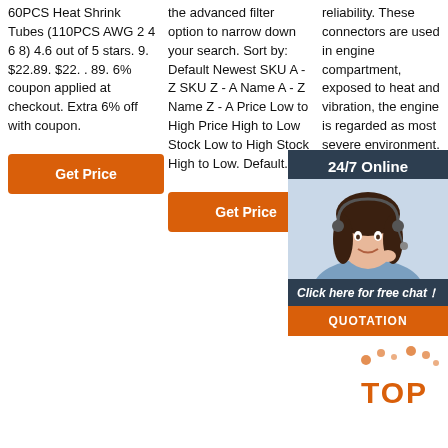60PCS Heat Shrink Tubes (110PCS AWG 2 4 6 8) 4.6 out of 5 stars. 9. $22.89. $22. . 89. 6% coupon applied at checkout. Extra 6% off with coupon.
the advanced filter option to narrow down your search. Sort by: Default Newest SKU A - Z SKU Z - A Name A - Z Name Z - A Price Low to High Price High to Low Stock Low to High Stock High to Low. Default.
reliability. These connectors are used in engine compartment, exposed to heat and vibration, the engine is regarded as most severe environment. There are hybrid variations containing circuits 2.3mm and 4.8mm terminal. Miniaturized by using mat seal for wires.
[Figure (other): Customer service chat widget with woman wearing headset, '24/7 Online' header, 'Click here for free chat!' text, and QUOTATION button]
[Figure (other): TOP badge with orange dots decoration]
Get Price
Get Price
Get Price